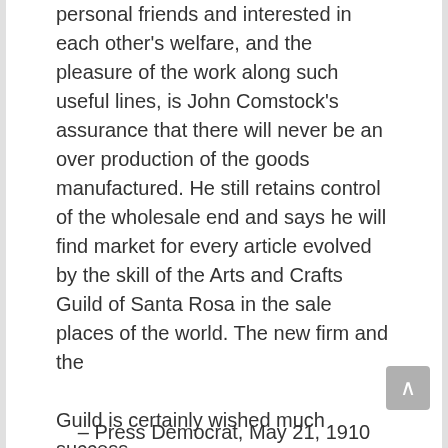personal friends and interested in each other's welfare, and the pleasure of the work along such useful lines, is John Comstock's assurance that there will never be an over production of the goods manufactured. He still retains control of the wholesale end and says he will find market for every article evolved by the skill of the Arts and Crafts Guild of Santa Rosa in the sale places of the world. The new firm and the

Guild is certainly wished much success.
– Press Democrat, May 21, 1910